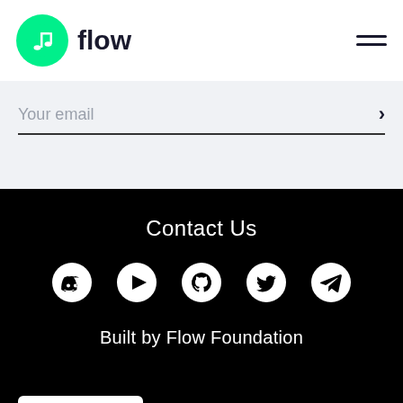[Figure (logo): Flow logo: green circle with white musical note icon and the word 'flow' in bold dark text beside it]
[Figure (other): Hamburger menu icon (three horizontal lines) in top right corner]
Your email
Contact Us
[Figure (infographic): Five social media icons: Discord, YouTube, GitHub, Twitter, Telegram — white icons on black background]
Built by Flow Foundation
English >